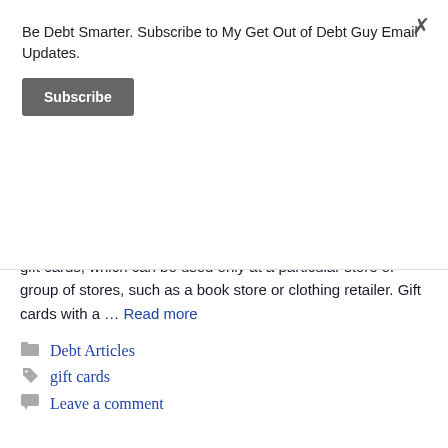Be Debt Smarter. Subscribe to My Get Out of Debt Guy Email Updates.
Subscribe
gift cards, which can be used only at a particular store or group of stores, such as a book store or clothing retailer. Gift cards with a … Read more
Debt Articles
gift cards
Leave a comment
Women Pleads Guilty to Scam